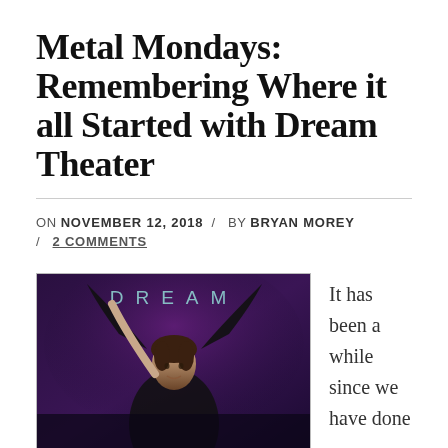Metal Mondays: Remembering Where it all Started with Dream Theater
ON NOVEMBER 12, 2018 / BY BRYAN MOREY / 2 COMMENTS
[Figure (photo): Dream Theater album cover showing the word DREAM in teal/silver letters at the top, with a young man with dark hair against a dark purple/violet background, arms raised.]
It has been a while since we have done